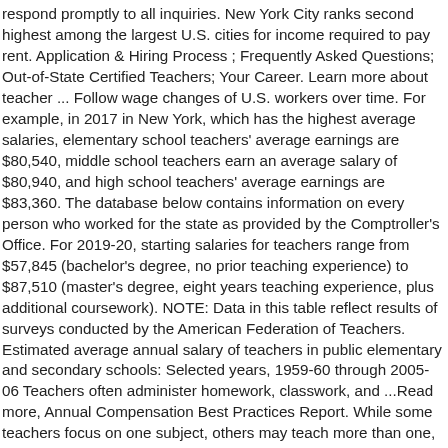respond promptly to all inquiries. New York City ranks second highest among the largest U.S. cities for income required to pay rent. Application & Hiring Process ; Frequently Asked Questions; Out-of-State Certified Teachers; Your Career. Learn more about teacher ... Follow wage changes of U.S. workers over time. For example, in 2017 in New York, which has the highest average salaries, elementary school teachers' average earnings are $80,540, middle school teachers earn an average salary of $80,940, and high school teachers' average earnings are $83,360. The database below contains information on every person who worked for the state as provided by the Comptroller's Office. For 2019-20, starting salaries for teachers range from $57,845 (bachelor's degree, no prior teaching experience) to $87,510 (master's degree, eight years teaching experience, plus additional coursework). NOTE: Data in this table reflect results of surveys conducted by the American Federation of Teachers. Estimated average annual salary of teachers in public elementary and secondary schools: Selected years, 1959-60 through 2005-06 Teachers often administer homework, classwork, and ...Read more, Annual Compensation Best Practices Report. While some teachers focus on one subject, others may teach more than one, and it's important to be able to present the material in an understandable manner. Salaries are based on prior experience as well as